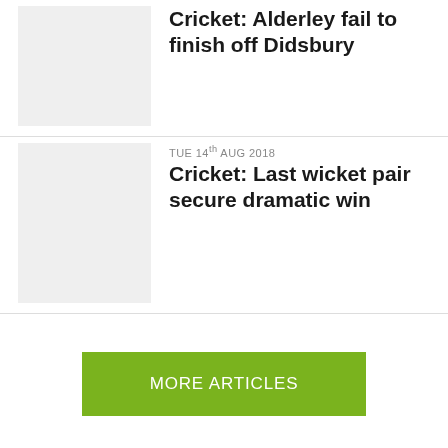Cricket: Alderley fail to finish off Didsbury
TUE 14th AUG 2018
Cricket: Last wicket pair secure dramatic win
MORE ARTICLES
Home | About us | Get in contact | Advertise with us | wilmslow.co.uk
Copyright © Focus Digital Limited — All rights reserved. Terms & Conditions. Privacy Policy.